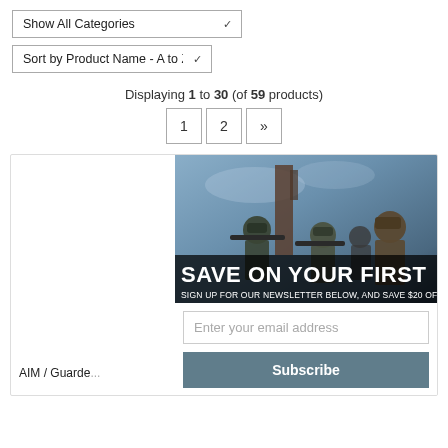Show All Categories
Sort by Product Name - A to Z
Displaying 1 to 30 (of 59 products)
1  2  »
[Figure (screenshot): E-commerce product listing page with a newsletter signup modal overlay showing soldiers image with text 'SAVE ON YOUR FIRST' and 'SIGN UP FOR OUR NEWSLETTER BELOW, AND SAVE $20 OFF', an email input field, and a Subscribe button. Below modal text shows 'AIM / Guarde...']
AIM / Guarde...